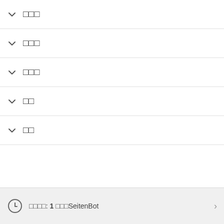∨ □□□
∨ □□□
∨ □□□
∨ □□
∨ □□
□□□□: 1 □□□SeitenBot